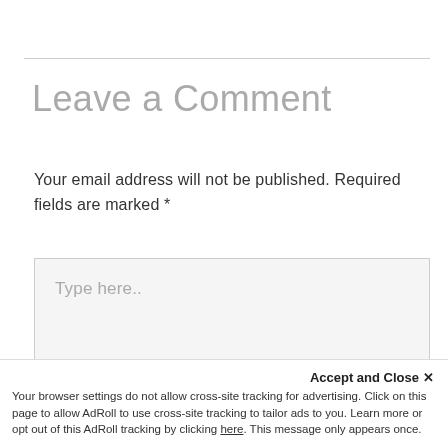Leave a Comment
Your email address will not be published. Required fields are marked *
[Figure (screenshot): Comment text area input box with placeholder text 'Type here..']
Accept and Close ✕
Your browser settings do not allow cross-site tracking for advertising. Click on this page to allow AdRoll to use cross-site tracking to tailor ads to you. Learn more or opt out of this AdRoll tracking by clicking here. This message only appears once.